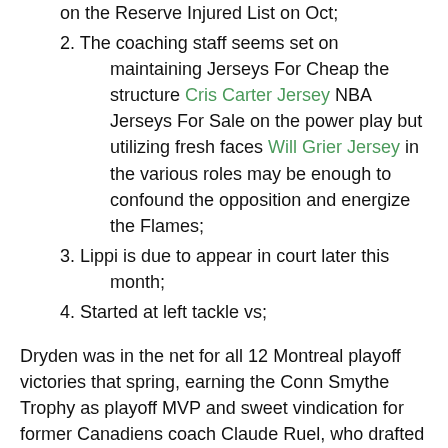on the Reserve Injured List on Oct;
2. The coaching staff seems set on maintaining Jerseys For Cheap the structure Cris Carter Jersey NBA Jerseys For Sale on the power play but utilizing fresh faces Will Grier Jersey in the various roles may be enough to confound the opposition and energize the Flames;
3. Lippi is due to appear in court later this month;
4. Started at left tackle vs;
Dryden was in the net for all 12 Montreal playoff victories that spring, earning the Conn Smythe Trophy as playoff MVP and sweet vindication for former Canadiens coach Claude Ruel, who drafted Dryden, younger brother of NHL goaltender Dave Dryden, in 1964. Wims has been a nice surprise as a seventh-